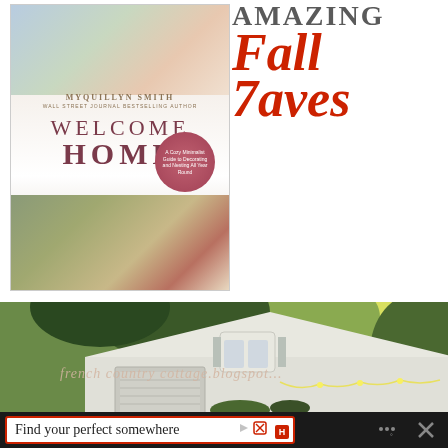[Figure (photo): Book cover for 'Welcome Home' by Myquillyn Smith, Wall Street Journal Bestselling Author. Shows a cozy decorating guide with pink and neutral tones.]
Amazing Fall Faves
[Figure (photo): Photo of a white country cottage/barn with green trees in background, with overlay text reading 'french country cottage.blogspot...']
Find your perfect somewhere
Find your perfect somewhere [advertisement bar]